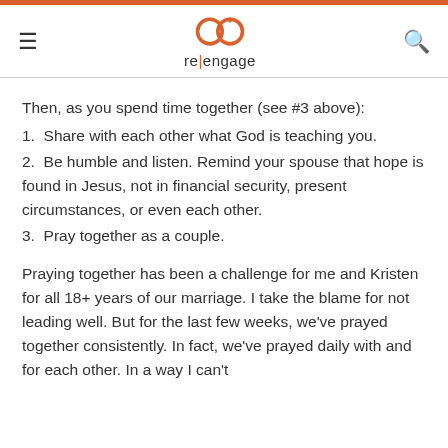re|engage
Then, as you spend time together (see #3 above):
1. Share with each other what God is teaching you.
2. Be humble and listen. Remind your spouse that hope is found in Jesus, not in financial security, present circumstances, or even each other.
3. Pray together as a couple.
Praying together has been a challenge for me and Kristen for all 18+ years of our marriage. I take the blame for not leading well. But for the last few weeks, we've prayed together consistently. In fact, we've prayed daily with and for each other. In a way I can't